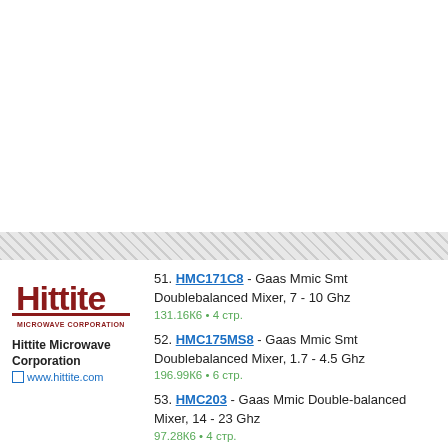[Figure (logo): Hittite Microwave Corporation logo — red stylized 'Hittite' wordmark with 'MICROWAVE CORPORATION' below]
Hittite Microwave Corporation
www.hittite.com
51. HMC171C8 - Gaas Mmic Smt Doublebalanced Mixer, 7 - 10 Ghz
131.16К6 • 4 стр.
52. HMC175MS8 - Gaas Mmic Smt Doublebalanced Mixer, 1.7 - 4.5 Ghz
196.99К6 • 6 стр.
53. HMC203 - Gaas Mmic Double-balanced Mixer, 14 - 23 Ghz
97.28К6 • 4 стр.
54. HMC207S8 - Gaas Mmic Smt Doublebalanced Mixer, 0.7 - 2.0 Ghz